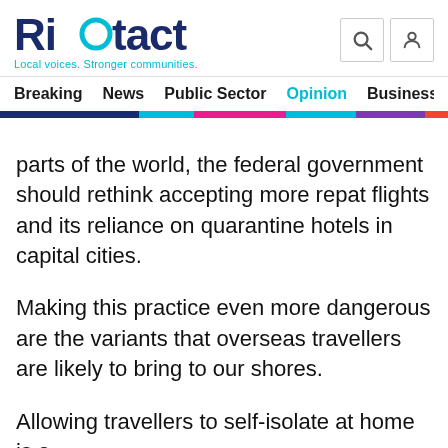Riotact — Local voices. Stronger communities.
Breaking  News  Public Sector  Opinion  Business
parts of the world, the federal government should rethink accepting more repat flights and its reliance on quarantine hotels in capital cities.
Making this practice even more dangerous are the variants that overseas travellers are likely to bring to our shores.
Allowing travellers to self-isolate at home is a